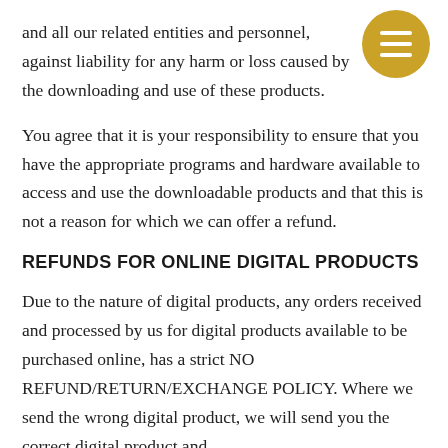and all our related entities and personnel, against liability for any harm or loss caused by the downloading and use of these products.
You agree that it is your responsibility to ensure that you have the appropriate programs and hardware available to access and use the downloadable products and that this is not a reason for which we can offer a refund.
REFUNDS FOR ONLINE DIGITAL PRODUCTS
Due to the nature of digital products, any orders received and processed by us for digital products available to be purchased online, has a strict NO REFUND/RETURN/EXCHANGE POLICY. Where we send the wrong digital product, we will send you the correct digital product and